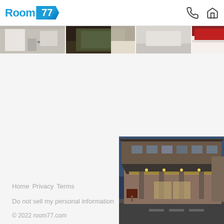Room 77 — header with logo and navigation icons
[Figure (photo): Strip of hotel room photos: bathroom, hallway/bed, empty segment, red pillow/bed]
[Figure (photo): Hotel exterior at dusk/evening with lit entrance canopy and parking lot]
Home  Privacy  Terms
Do not sell my personal information
© 2022 room77.com